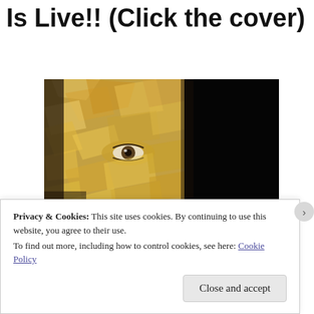Is Live!! (Click the cover)
[Figure (photo): Close-up photo of a face covered in gold foil/crinkled gold material, with one eye visible. The right side of the image is solid black background. The face is dramatic and artistic, resembling a book cover image.]
Privacy & Cookies: This site uses cookies. By continuing to use this website, you agree to their use.
To find out more, including how to control cookies, see here: Cookie Policy
Close and accept